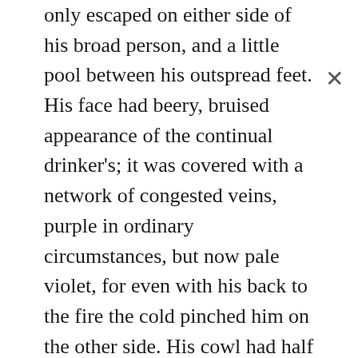only escaped on either side of his broad person, and a little pool between his outspread feet. His face had beery, bruised appearance of the continual drinker's; it was covered with a network of congested veins, purple in ordinary circumstances, but now pale violet, for even with his back to the fire the cold pinched him on the other side. His cowl had half fallen back, and made a strange excrescence on either side of his bull neck. So he straddled, grumbling, and cut the room in half with the shadow of his portly frame.

On the right, Villon and Guy Tabary were huddled together over a scrap of parchment; Villon making a